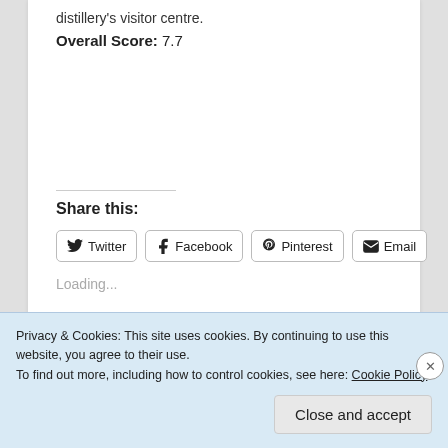distillery's visitor centre.
Overall Score: 7.7
Share this:
Twitter  Facebook  Pinterest  Email
Loading...
Privacy & Cookies: This site uses cookies. By continuing to use this website, you agree to their use.
To find out more, including how to control cookies, see here: Cookie Policy
Close and accept